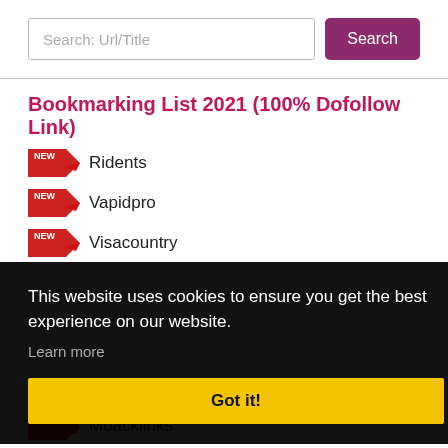[Figure (screenshot): Search bar with placeholder 'Search: Url/Title' and a purple 'Search' button]
Bookmarking List 2021 (100% Dofollow Link)
Ridents
Vapidpro
Visacountry
This website uses cookies to ensure you get the best experience on our website. Learn more
Got it!
Mbacklinks